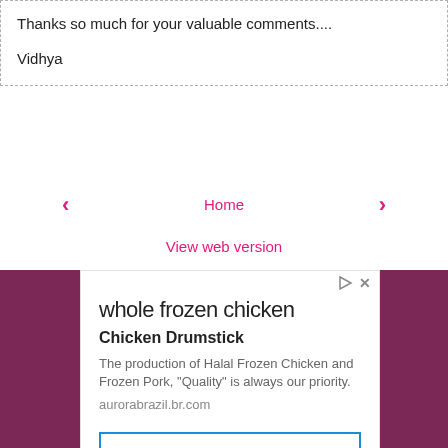Thanks so much for your valuable comments....
Vidhya
‹  Home  ›
View web version
[Figure (other): Advertisement card for 'whole frozen chicken' / Chicken Drumstick from aurorabrazil.br.com with an OPEN button, displayed over a dark magenta background.]